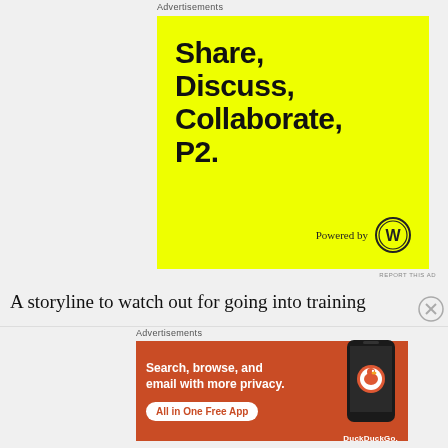Advertisements
[Figure (illustration): Yellow advertisement banner for WordPress P2 with bold black text reading 'Share, Discuss, Collaborate, P2.' and 'Powered by' with WordPress logo]
REPORT THIS AD
A storyline to watch out for going into training
Advertisements
[Figure (illustration): Orange advertisement banner for DuckDuckGo app with white text 'Search, browse, and email with more privacy. All in One Free App' and a phone graphic with DuckDuckGo logo]